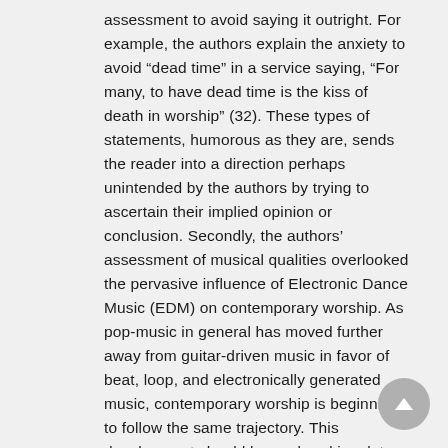assessment to avoid saying it outright. For example, the authors explain the anxiety to avoid “dead time” in a service saying, “For many, to have dead time is the kiss of death in worship” (32). These types of statements, humorous as they are, sends the reader into a direction perhaps unintended by the authors by trying to ascertain their implied opinion or conclusion. Secondly, the authors’ assessment of musical qualities overlooked the pervasive influence of Electronic Dance Music (EDM) on contemporary worship. As pop-music in general has moved further away from guitar-driven music in favor of beat, loop, and electronically generated music, contemporary worship is beginning to follow the same trajectory. This development should be explored in a later edition of this book.